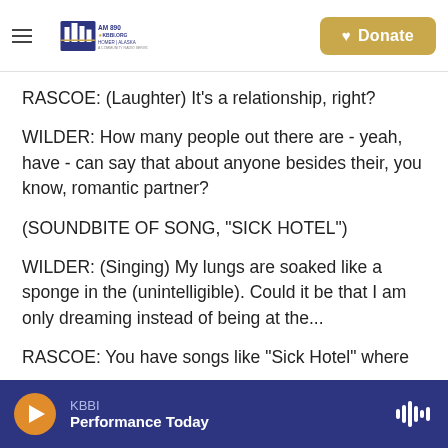KBBI AM 890 • KBBI.ORG Homer, Alaska — Donate
RASCOE: (Laughter) It's a relationship, right?
WILDER: How many people out there are - yeah, have - can say that about anyone besides their, you know, romantic partner?
(SOUNDBITE OF SONG, "SICK HOTEL")
WILDER: (Singing) My lungs are soaked like a sponge in the (unintelligible). Could it be that I am only dreaming instead of being at the...
RASCOE: You have songs like "Sick Hotel" where
KBBI — Performance Today